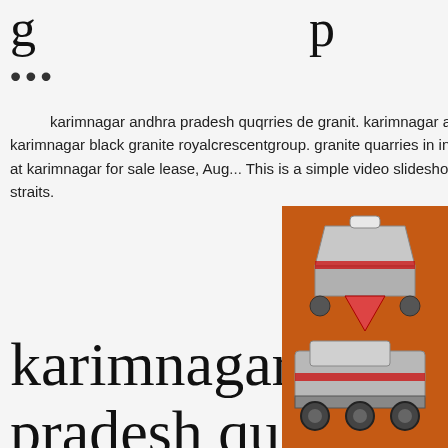g ... p
...
karimnagar andhra pradesh quqrries de granit. karimnagar andhra pradesh granite quqrries. youtube karimnagar black granite royalcrescentgroup. granite quarries in indiagranite quarries in karimnagar quarry mine at karimnagar for sale lease, Aug... This is a simple video slideshow, Andhra Prad... granite industry in dire straits.
karimnagar andhra pradesh quqrries granit
[Figure (illustration): Orange advertisement panel showing industrial mining/crushing machinery equipment with text 'Enjoy 3% discount', 'Click to Chat', 'Enquiry', and 'limingjlmofen@sina.com']
karimnagar andhra pradesh granite quqr... karimnagar andhra pradesh granite quqrri gra... in karimnagar granite colours in karimnagar a p granite quarry in karimnagarTan Brown Granite Slabs Tiles